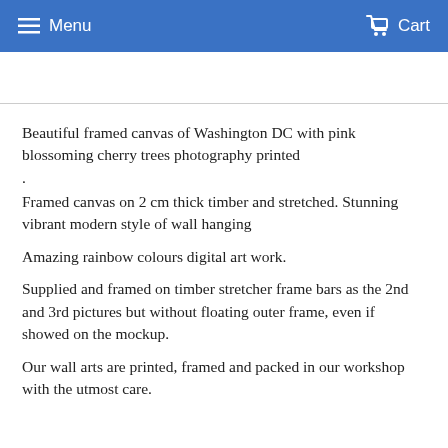Menu   Cart
Beautiful framed canvas of Washington DC with pink blossoming cherry trees photography printed
.
Framed canvas on 2 cm thick timber and stretched. Stunning vibrant modern style of wall hanging
Amazing rainbow colours digital art work.
Supplied and framed on timber stretcher frame bars as the 2nd and 3rd pictures but without floating outer frame, even if showed on the mockup.
Our wall arts are printed, framed and packed in our workshop with the utmost care.